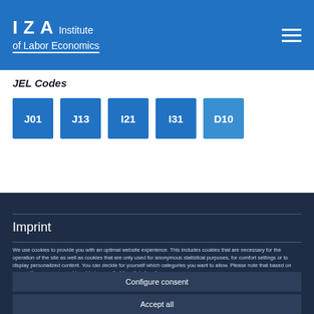IZA Institute of Labor Economics
JEL Codes
J01
J13
I21
I31
D10
Imprint
We use cookies to provide you with an optimal website experience. This includes cookies that are necessary for the operation of the site as well as cookies that are only used for anonymous statistical purposes, for comfort settings or to display personalized content. You can decide for yourself which categories you want to allow. Please note that based on your settings, you may not be able to use all of the site's functions.
Configure consent
Accept all